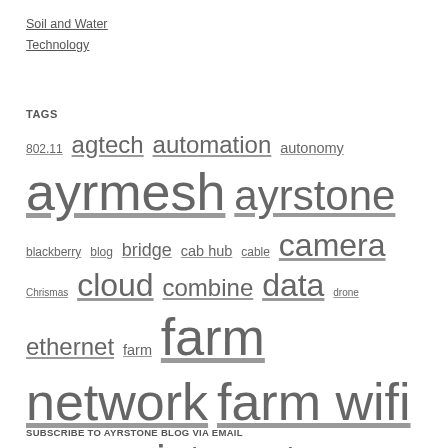Soil and Water
Technology
TAGS
802.11 agtech automation autonomy ayrmesh ayrstone blackberry blog bridge cab hub cable camera Chrismas cloud combine data drone ethernet farm farm network farm wifi hub hub2x2 internet IoT ipad irrigation networking precision ag ranch receiver router security sensors smartphone soil sprayer tablet tractor truck uav water wifi wireless wireless farm network
SUBSCRIBE TO AYRSTONE BLOG VIA EMAIL